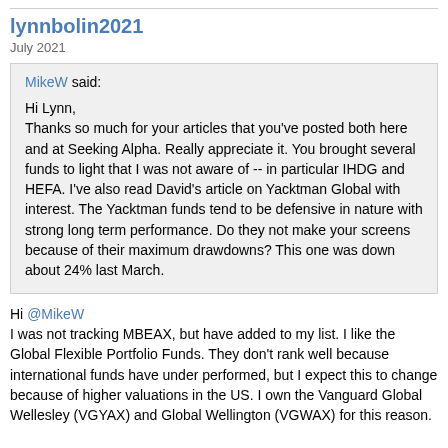lynnbolin2021
July 2021
MikeW said:

Hi Lynn,
Thanks so much for your articles that you've posted both here and at Seeking Alpha. Really appreciate it. You brought several funds to light that I was not aware of -- in particular IHDG and HEFA. I've also read David's article on Yacktman Global with interest. The Yacktman funds tend to be defensive in nature with strong long term performance. Do they not make your screens because of their maximum drawdowns? This one was down about 24% last March.
Hi @MikeW
I was not tracking MBEAX, but have added to my list. I like the Global Flexible Portfolio Funds. They don't rank well because international funds have under performed, but I expect this to change because of higher valuations in the US. I own the Vanguard Global Wellesley (VGYAX) and Global Wellington (VGWAX) for this reason.